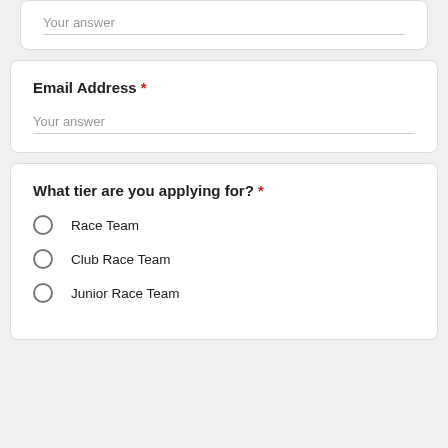Your answer
Email Address *
Your answer
What tier are you applying for? *
Race Team
Club Race Team
Junior Race Team